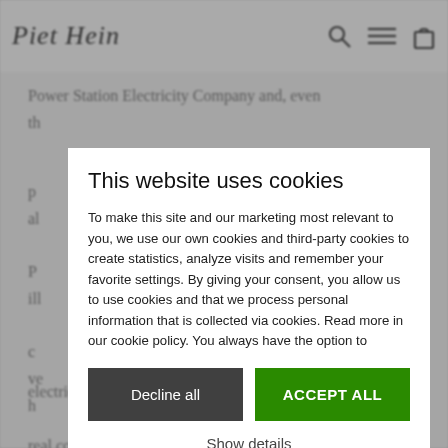Piet Hein
Power Station Electricity Company and, even th...
p... al...
P... il...
c... ve... h...
This website uses cookies
To make this site and our marketing most relevant to you, we use our own cookies and third-party cookies to create statistics, analyze visits and remember your favorite settings. By giving your consent, you allow us to use cookies and that we process personal information that is collected via cookies. Read more in our cookie policy. You always have the option to
Decline all
ACCEPT ALL
Show details
electricity. Of a more diversified nature is his only real collection of essays to date, that with the title 'Kilden og Krukken' (The source and the